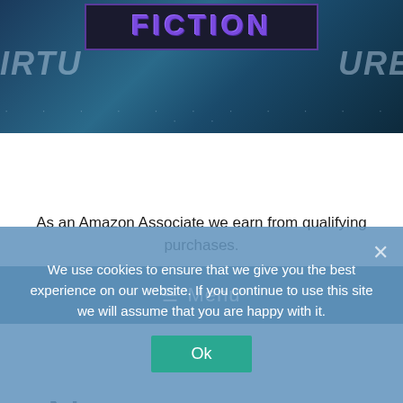FICTION
≡ Menu
As an Amazon Associate we earn from qualifying purchases.
New Release/Giveaway:
We use cookies to ensure that we give you the best experience on our website. If you continue to use this site we will assume that you are happy with it.